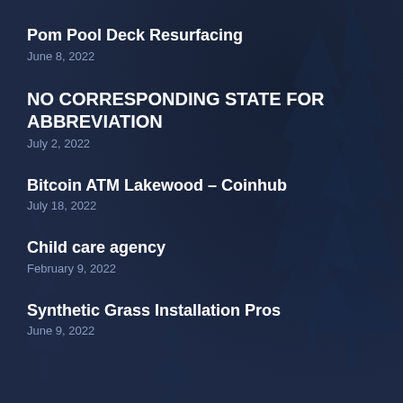Pom Pool Deck Resurfacing
June 8, 2022
NO CORRESPONDING STATE FOR ABBREVIATION
July 2, 2022
Bitcoin ATM Lakewood – Coinhub
July 18, 2022
Child care agency
February 9, 2022
Synthetic Grass Installation Pros
June 9, 2022